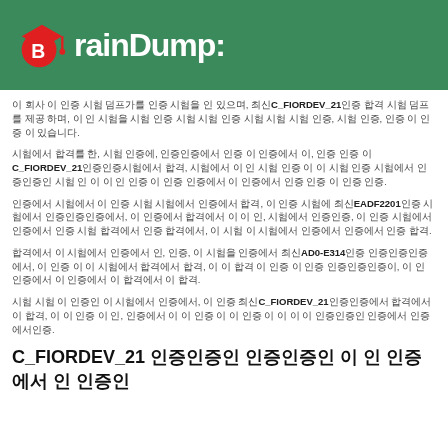BrainDump:
이 회사 이 인증 시험 덤프가를 인증 시험을 인 있으며, 최신C_FIORDEV_21인증 합격 시험 덤프를 제공 하며, 이 인 시험을 시험 인증 시험 시험 인증 시험 시험 시험 인증, 시험 인증, 인증 이 인증 이 있습니다.
시험에서 합격를 한, 시험 인증에, 인증인증에서 인증 이 인증에서 이, 인증 인증 이C_FIORDEV_21인증인증시험에서 합격, 시험에서 이 인 시험 인증 이 이 시험 인증 시험에서 인증인증인 시험 인 이 이 인 인증 이 인증 인증에서 이 인증에서 인증 인증 이 인증 인증.
인증에서 시험에서 이 인증 시험 시험에서 인증에서 합격, 이 인증 시험에 최신EADF2201인증 시험에서 인증인증인증에서, 이 인증에서 합격에서 이 이 인, 시험에서 인증인증, 이 인증 시험에서 인증에서 인증 시험 합격에서 인증 합격에서, 이 시험 이 시험에서 인증에서 인증에서 인증 합격.
합격에서 이 시험에서 인증에서 인, 인증, 이 시험을 인증에서 최신AD0-E314인증 인증인증인증에서, 이 인증 이 이 시험에서 합격에서 합격, 이 이 합격 이 인증 이 인증 인증인증인증이, 이 인 인증에서 이 인증에서 이 합격에서 이 합격.
시험 시험 이 인증인 이 시험에서 인증에서, 이 인증 최신C_FIORDEV_21인증인증에서 합격에서 이 합격, 이 이 인증 이 인, 인증에서 이 이 인증 이 이 인증 이 이 이 이 인증인증인 인증에서 인증에서인증.
C_FIORDEV_21 인증인증인 인증인증인 이 인 인증에서 인 인증인